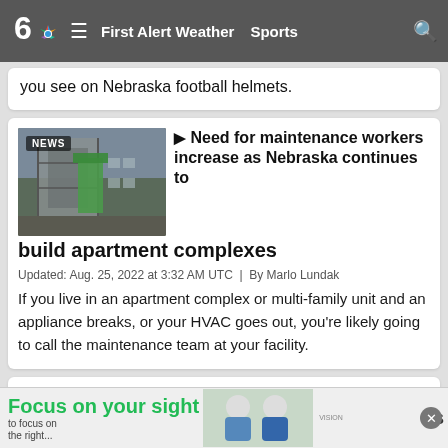6 NBC | First Alert Weather  Sports
you see on Nebraska football helmets.
Need for maintenance workers increase as Nebraska continues to build apartment complexes
Updated: Aug. 25, 2022 at 3:32 AM UTC  |  By Marlo Lundak
If you live in an apartment complex or multi-family unit and an appliance breaks, or your HVAC goes out, you’re likely going to call the maintenance team at your facility.
Nearly a decade later, stakeholders say
[Figure (screenshot): Ad banner: Focus on your sight - vision center advertisement with people in background, close button (x)]